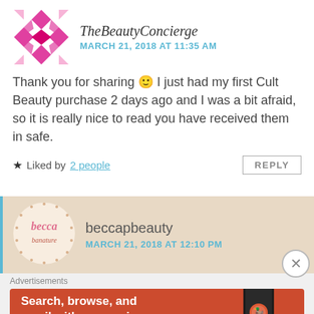[Figure (logo): TheBeautyConcierge avatar: pink/magenta geometric diamond pattern logo]
TheBeautyConcierge
MARCH 21, 2018 AT 11:35 AM
Thank you for sharing 🙂 I just had my first Cult Beauty purchase 2 days ago and I was a bit afraid, so it is really nice to read you have received them in safe.
Liked by 2 people   REPLY
[Figure (logo): beccapbeauty avatar: circular logo with handwritten 'becca' text in pink on white background with dot border]
beccapbeauty
MARCH 21, 2018 AT 12:10 PM
Advertisements
[Figure (screenshot): DuckDuckGo advertisement banner: orange background with text 'Search, browse, and email with more privacy. All in One Free App' and phone image with DuckDuckGo logo]